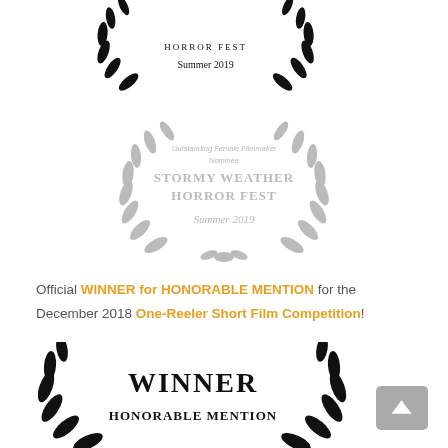[Figure (illustration): Laurel wreath award badge (cropped top) - Horror Fest Summer 2019, black, partial]
[Figure (illustration): Laurel wreath award badge - Outstanding Female Filmmaker Nominee, Stormy Weather Horror Fest, Summer 2019, light grey]
Official WINNER for HONORABLE MENTION for the December 2018 One-Reeler Short Film Competition!
[Figure (illustration): Laurel wreath award badge - WINNER HONORABLE MENTION, black (partially visible at bottom)]